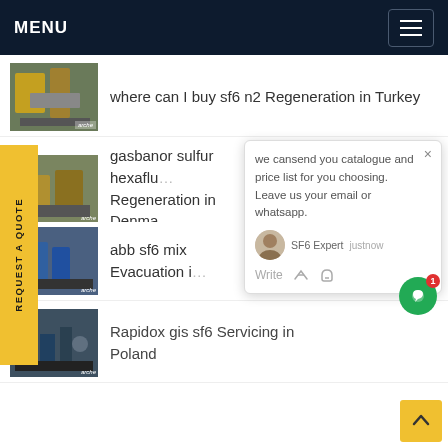MENU
where can I buy sf6 n2 Regeneration in Turkey
gasbanor sulfur hexafluoride Regeneration in Denmark
abb sf6 mix Evacuation
Rapidox gis sf6 Servicing in Poland
REQUEST A QUOTE
we cansend you catalogue and price list for you choosing.
Leave us your email or whatsapp.
SF6 Expert   justnow
Write